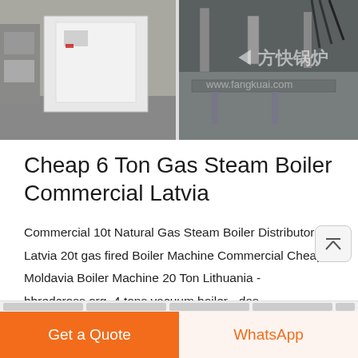[Figure (photo): Photo collage showing industrial gas steam boilers in a manufacturing facility. Left side shows a large white rectangular boiler unit on a factory floor. Right side shows close-up of boiler components with a Chinese watermark text (方快锅炉 / Fangkuai Boiler).]
Cheap 6 Ton Gas Steam Boiler Commercial Latvia
Commercial 10t Natural Gas Steam Boiler Distributor Latvia 20t gas fired Boiler Machine Commercial Cheap Moldavia Boiler Machine 20 Ton Lithuania - hhredcross.org. 4 tons vacuum boiler - das-kinderferienhaus. industrial 0 5 Ton Vacuum Boiler For Sale. oil
Get a quote
Get a Quote
WhatsApp